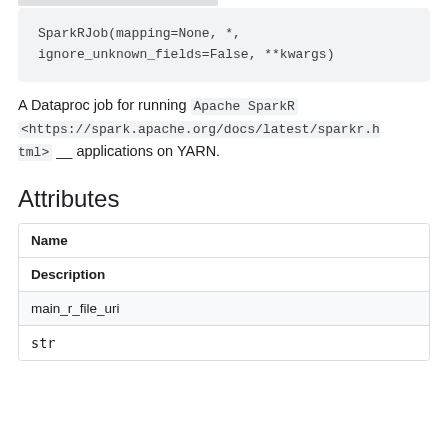SparkRJob(mapping=None, *, ignore_unknown_fields=False, **kwargs)
A Dataproc job for running Apache SparkR <https://spark.apache.org/docs/latest/sparkr.html> __ applications on YARN.
Attributes
| Name | Description |
| --- | --- |
| main_r_file_uri | str |